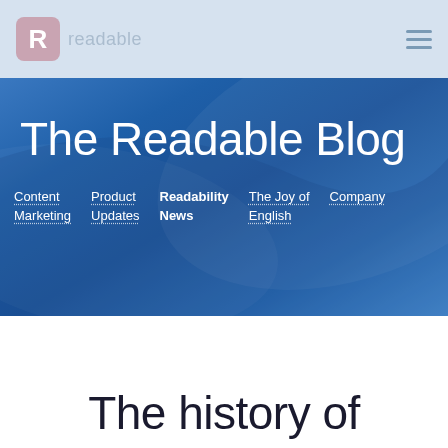R readable
The Readable Blog
Content Marketing
Product Updates
Readability News
The Joy of English
Company
The history of